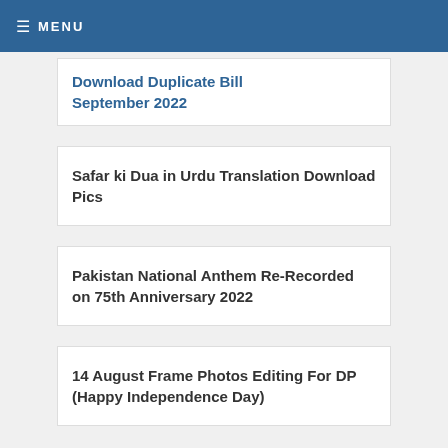MENU
Download Duplicate Bill September 2022
Safar ki Dua in Urdu Translation Download Pics
Pakistan National Anthem Re-Recorded on 75th Anniversary 2022
14 August Frame Photos Editing For DP (Happy Independence Day)